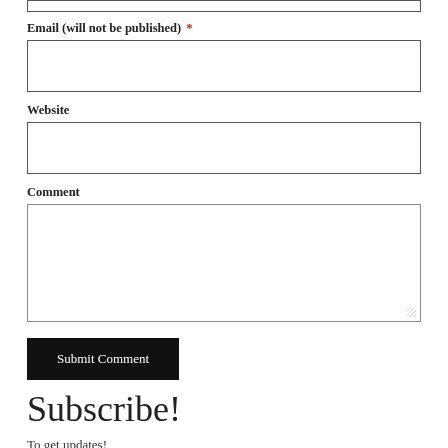Email (will not be published) *
[Figure (other): Email input field (text box)]
Website
[Figure (other): Website input field (text box)]
Comment
[Figure (other): Comment textarea (large text box)]
[Figure (other): Submit Comment button (dark/black background, white text)]
Subscribe!
To get updates!